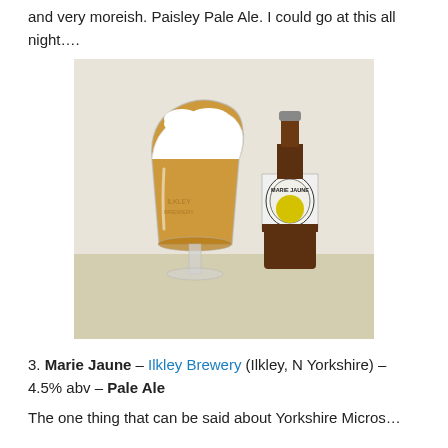and very moreish. Paisley Pale Ale. I could go at this all night….
[Figure (photo): A glass of pale golden beer with a foamy white head next to a brown bottle with a Marie Jaune label from Ilkley Brewery, placed on a light-coloured surface.]
3. Marie Jaune – Ilkley Brewery (Ilkley, N Yorkshire) – 4.5% abv – Pale Ale
The one thing that can be said about Yorkshire Micros…